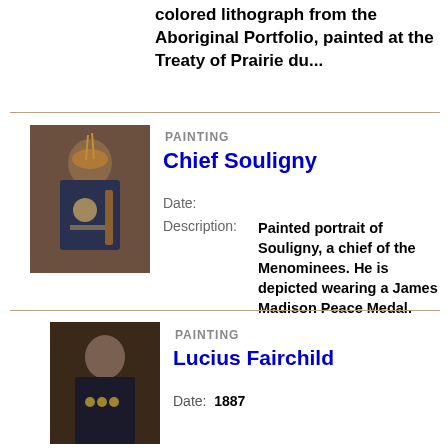colored lithograph from the Aboriginal Portfolio, painted at the Treaty of Prairie du...
[Figure (photo): Painted portrait of Chief Souligny, a Native American chief wearing traditional headdress and a James Madison Peace Medal, holding a staff]
PAINTING
Chief Souligny
Date:
Description:  Painted portrait of Souligny, a chief of the Menominees. He is depicted wearing a James Madison Peace Medal.
[Figure (photo): Painted portrait of Lucius Fairchild, a man in dark military uniform with medals]
PAINTING
Lucius Fairchild
Date:  1887